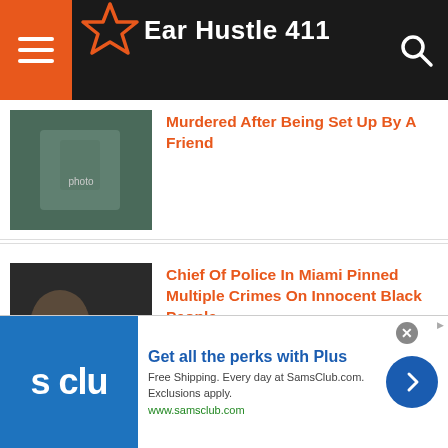Ear Hustle 411
Murdered After Being Set Up By A Friend
Chief Of Police In Miami Pinned Multiple Crimes On Innocent Black People
Black Farmers Were Intentionally Sold Defective Seeds In A Scheme To Steal Their Land & Put Them Out Of Business
[Figure (infographic): Advertisement for SamsClub.com with logo, text: Get all the perks with Plus, Free Shipping. Every day at SamsClub.com. Exclusions apply. www.samsclub.com]